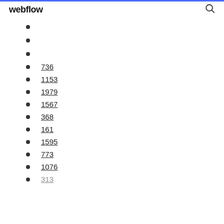webflow
736
1153
1979
1567
368
161
1595
773
1076
313